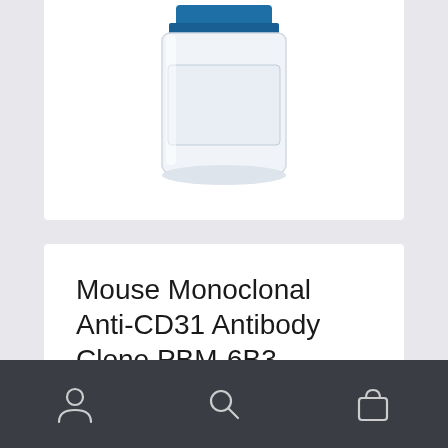[Figure (photo): Partially visible product bottle with blue cap/label on white background, cropped at top]
Mouse Monoclonal Anti-CD31 Antibody Clone PBM-6B3
SKU: 10-310040
Categories: All Products, Antibodies / Antigens
$145.00 – $750.00
[Figure (other): Bottom navigation bar with user account icon, search icon, and shopping bag icon]